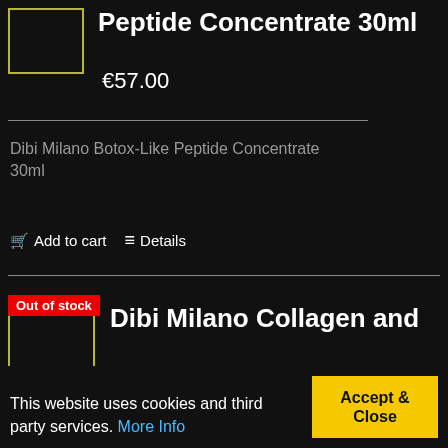Peptide Concentrate 30ml
€57.00
Dibi Milano Botox-Like Peptide Concentrate 30ml
Add to cart   Details
Out of stock
Dibi Milano Collagen and Elastin Booster Concentrate
This website uses cookies and third party services. More Info
Accept & Close